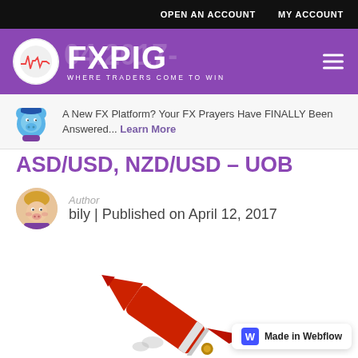OPEN AN ACCOUNT   MY ACCOUNT
[Figure (logo): FXPIG logo - purple header with pig mascot in circle, brand name FXPIG, tagline WHERE TRADERS COME TO WIN]
A New FX Platform? Your FX Prayers Have FINALLY Been Answered... Learn More
ASD/USD, NZD/USD - UOB
Author
bily | Published on April 12, 2017
[Figure (photo): Red cartoon rocket launching upward against white background]
Made in Webflow